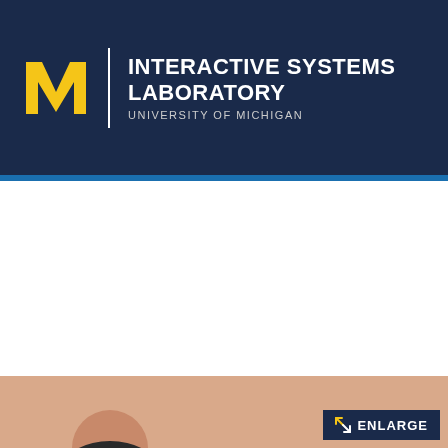[Figure (logo): University of Michigan Interactive Systems Laboratory header with block M logo and text]
≡ MENU | search
[Figure (photo): Partial photo of a person with an ENLARGE button overlay in the bottom right corner]